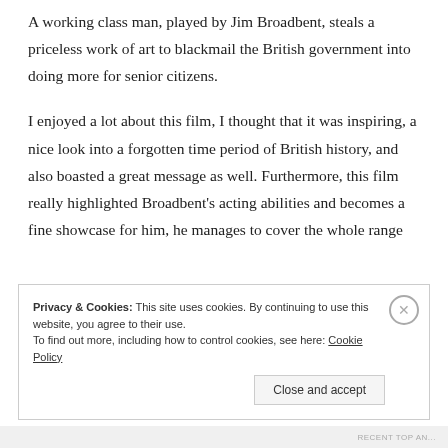A working class man, played by Jim Broadbent, steals a priceless work of art to blackmail the British government into doing more for senior citizens.
I enjoyed a lot about this film, I thought that it was inspiring, a nice look into a forgotten time period of British history, and also boasted a great message as well. Furthermore, this film really highlighted Broadbent's acting abilities and becomes a fine showcase for him, he manages to cover the whole range
Privacy & Cookies: This site uses cookies. By continuing to use this website, you agree to their use.
To find out more, including how to control cookies, see here: Cookie Policy
RECENT TOP AN...